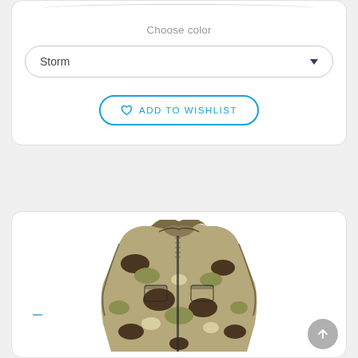Choose color
Storm
ADD TO WISHLIST
[Figure (photo): A camouflage hunting jacket with hood, displayed against a white background. The jacket has an earth-tone camouflage pattern in brown, olive, and cream colors.]